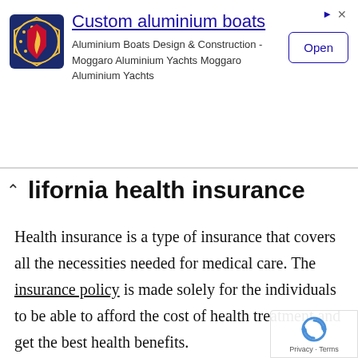[Figure (other): Advertisement banner for Moggaro custom aluminium boats with logo, title, description text, and Open button]
California health insurance
Health insurance is a type of insurance that covers all the necessities needed for medical care. The insurance policy is made solely for the individuals to be able to afford the cost of health treatment and get the best health benefits.
Health insurance in California is available for the residents. There are different insurance companies that offer different benefits for the residents of California. One of those insurance organizations is Covered California. Covered